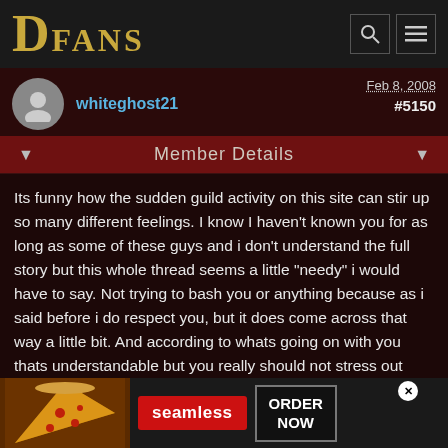DFANS
whiteghost21
Feb 8, 2008 #5150
Member Details
Its funny how the sudden guild activity on this site can stir up so many different feelings. I know I haven't known you for as long as some of these guys and i don't understand the full story but this whole thread seems a little "needy" i would have to say. Not trying to bash you or anything because as i said before i do respect you, but it does come across that way a little bit. And according to whats going on with you thats understandable but you really should not stress out about stupid people saying ignorant things. Just continue with your life, who really cares what others think about you. Its how you feel about yourself that matters most.
winstonthe4th
Feb 8, 2008 #515...
[Figure (screenshot): Seamless food delivery advertisement banner with pizza image, seamless logo, and ORDER NOW button]